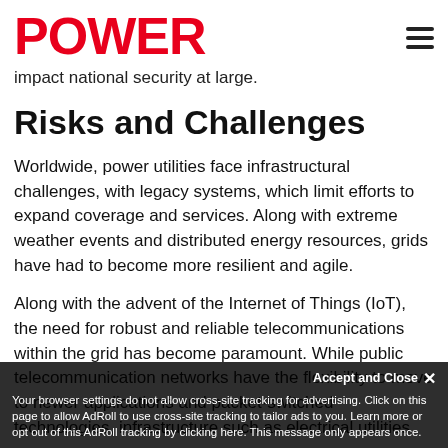POWER
impact national security at large.
Risks and Challenges
Worldwide, power utilities face infrastructural challenges, with legacy systems, which limit efforts to expand coverage and services. Along with extreme weather events and distributed energy resources, grids have had to become more resilient and agile.
Along with the advent of the Internet of Things (IoT), the need for robust and reliable telecommunications within the grid has become paramount. While public telecommunication networks have the flexibility to move to newer applications and packet-switched technologies, infrastructure such as electrical utilities
Accept and Close ✕
Your browser settings do not allow cross-site tracking for advertising. Click on this page to allow AdRoll to use cross-site tracking to tailor ads to you. Learn more or opt out of this AdRoll tracking by clicking here. This message only appears once.